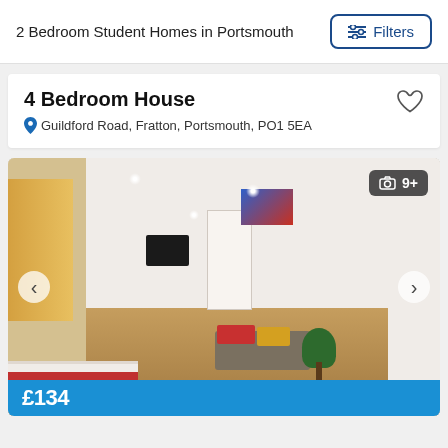2 Bedroom Student Homes in Portsmouth
4 Bedroom House
Guildford Road, Fratton, Portsmouth, PO1 5EA
[Figure (photo): Interior photo of a student house showing a living room with sofa with red and yellow cushions, a flat-screen TV on the wall, a plant, wooden floors, recessed spotlights, and artwork on the walls. A bed is partially visible in the foreground left, and a striped red headboard is visible on the left wall. A photo counter badge shows 9+ photos.]
9+